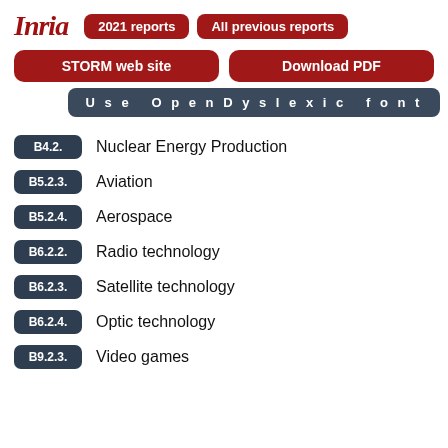Inria
2021 reports
All previous reports
STORM web site
Download PDF
Use OpenDyslexic font
B4.2. Nuclear Energy Production
B5.2.3. Aviation
B5.2.4. Aerospace
B6.2.2. Radio technology
B6.2.3. Satellite technology
B6.2.4. Optic technology
B9.2.3. Video games